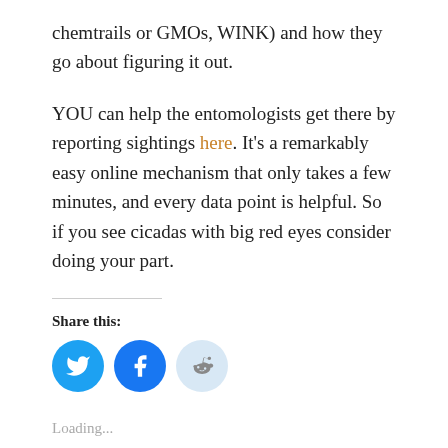chemtrails or GMOs, WINK) and how they go about figuring it out.
YOU can help the entomologists get there by reporting sightings here. It’s a remarkably easy online mechanism that only takes a few minutes, and every data point is helpful. So if you see cicadas with big red eyes consider doing your part.
Share this:
[Figure (infographic): Three social share buttons: Twitter (blue circle with bird icon), Facebook (blue circle with f icon), Reddit (light blue circle with Reddit alien icon)]
Loading...